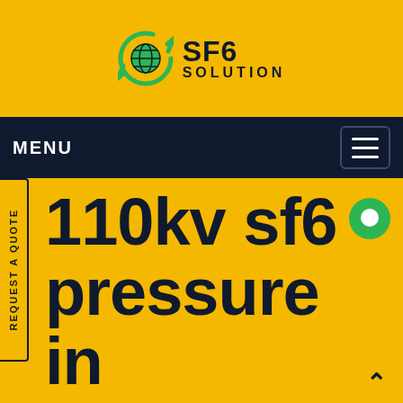[Figure (logo): SF6 Solution logo with green circular arrow icon and bold text SF6 SOLUTION]
MENU
REQUEST A QUOTE
110kv sf6 pressure in circuit breaker